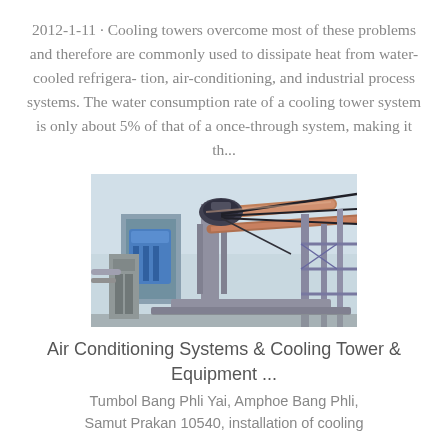2012-1-11 · Cooling towers overcome most of these problems and therefore are commonly used to dissipate heat from water-cooled refrigera- tion, air-conditioning, and industrial process systems. The water consumption rate of a cooling tower system is only about 5% of that of a once-through system, making it th...
[Figure (photo): Industrial cooling tower equipment with pipes, machinery, and metal framework against a light sky background]
Air Conditioning Systems & Cooling Tower & Equipment ...
Tumbol Bang Phli Yai, Amphoe Bang Phli, Samut Prakan 10540, installation of cooling